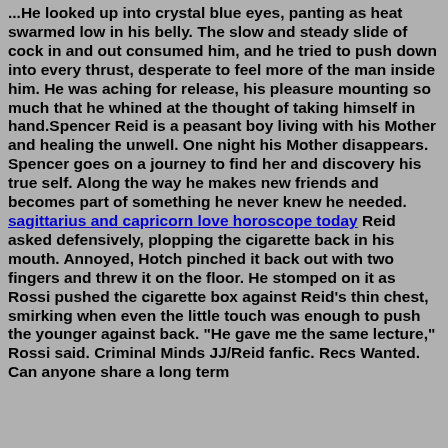...He looked up into crystal blue eyes, panting as heat swarmed low in his belly. The slow and steady slide of cock in and out consumed him, and he tried to push down into every thrust, desperate to feel more of the man inside him. He was aching for release, his pleasure mounting so much that he whined at the thought of taking himself in hand.Spencer Reid is a peasant boy living with his Mother and healing the unwell. One night his Mother disappears. Spencer goes on a journey to find her and discovery his true self. Along the way he makes new friends and becomes part of something he never knew he needed. sagittarius and capricorn love horoscope today Reid asked defensively, plopping the cigarette back in his mouth. Annoyed, Hotch pinched it back out with two fingers and threw it on the floor. He stomped on it as Rossi pushed the cigarette box against Reid's thin chest, smirking when even the little touch was enough to push the younger against back. "He gave me the same lecture," Rossi said. Criminal Minds JJ/Reid fanfic. Recs Wanted. Can anyone share a long term